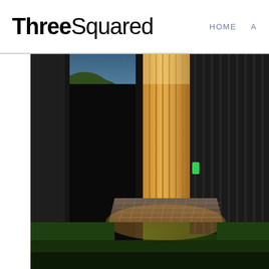ThreeSquared
HOME  A
[Figure (photo): Architectural photo of a modern shipping container building with warm wood-panel cladding and open door, illuminated at dusk, surrounded by grass and trees]